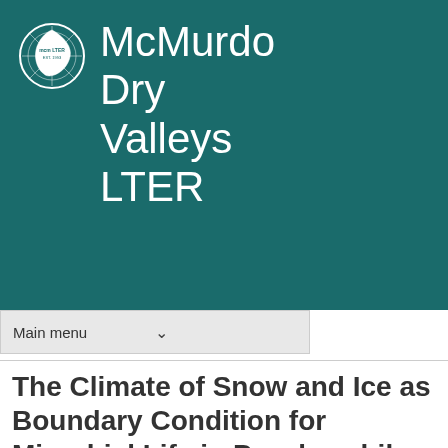McMurdo Dry Valleys LTER
[Figure (logo): McMurdo LTER logo — white Antarctica map outline with meridian/latitude grid lines on teal background]
Main menu
The Climate of Snow and Ice as Boundary Condition for Microbial Life in Psychrophiles: From Biodiversity to Biotechnology